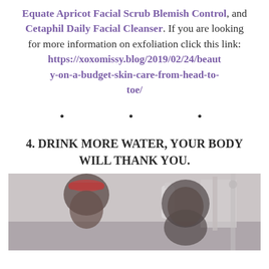Equate Apricot Facial Scrub Blemish Control, and Cetaphil Daily Facial Cleanser. If you are looking for more information on exfoliation click this link: https://xoxomissy.blog/2019/02/24/beauty-on-a-budget-skin-care-from-head-to-toe/
• • •
4. DRINK MORE WATER, YOUR BODY WILL THANK YOU.
[Figure (photo): Two people, a woman with a red headband and a man, appearing to be in a bathroom or kitchen setting with water-related items visible in the background.]